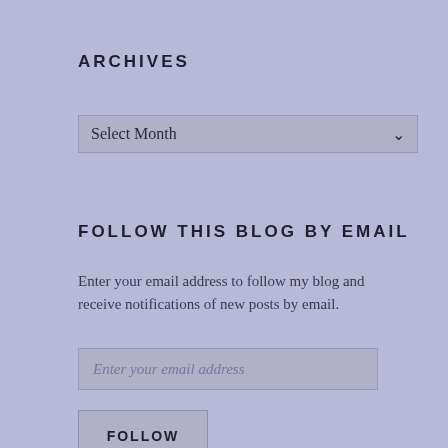ARCHIVES
[Figure (other): A dropdown selector widget with 'Select Month' placeholder text and a down-arrow chevron on the right]
FOLLOW THIS BLOG BY EMAIL
Enter your email address to follow my blog and receive notifications of new posts by email.
[Figure (other): An email address input field with placeholder text 'Enter your email address']
[Figure (other): A button labeled 'FOLLOW']